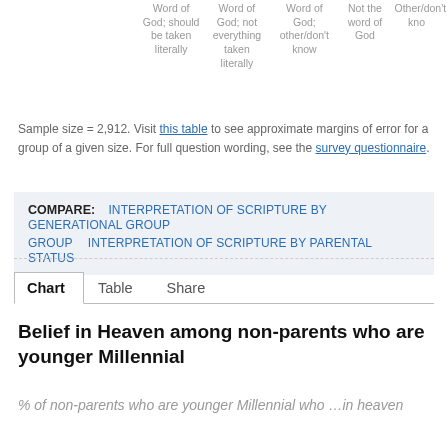[Figure (other): Partial view of column headers for a chart about interpretation of scripture: 'Word of God; should be taken literally', 'Word of God; not everything taken literally', 'Word of God; other/don't know', 'Not the word of God', 'Other/don't know']
Sample size = 2,912. Visit this table to see approximate margins of error for a group of a given size. For full question wording, see the survey questionnaire.
COMPARE:  INTERPRETATION OF SCRIPTURE BY GENERATIONAL GROUP   INTERPRETATION OF SCRIPTURE BY PARENTAL STATUS
Chart   Table   Share
Belief in Heaven among non-parents who are younger Millennial
% of non-parents who are younger Millennial who ...in heaven